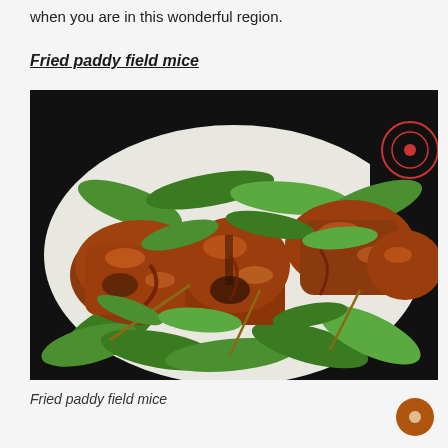when you are in this wonderful region.
Fried paddy field mice
[Figure (photo): A plate of fried paddy field mice garnished with green herbs/vegetables, served on a white oval plate against a dark background. The meat appears glazed and browned.]
Fried paddy field mice